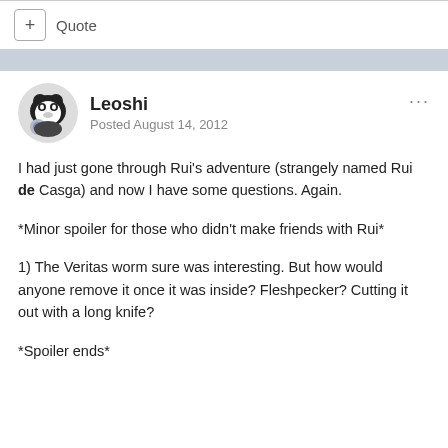+ Quote
Leoshi
Posted August 14, 2012
I had just gone through Rui's adventure (strangely named Rui de Casga) and now I have some questions. Again.
*Minor spoiler for those who didn't make friends with Rui*
1) The Veritas worm sure was interesting. But how would anyone remove it once it was inside? Fleshpecker? Cutting it out with a long knife?
*Spoiler ends*